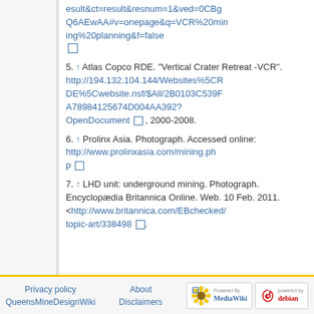esult&ct=result&resnum=1&ved=0CBgQ6AEwAA#v=onepage&q=VCR%20mining%20planning&f=false [external link]
5. ↑ Atlas Copco RDE. "Vertical Crater Retreat -VCR". http://194.132.104.144/Websites%5CRDE%5Cwebsite.nsf/$All/2B0103C539FA78984125674D004AA392?OpenDocument [external link], 2000-2008.
6. ↑ Prolinx Asia. Photograph. Accessed online: http://www.prolinxasia.com/mining.php [external link]
7. ↑ LHD unit: underground mining. Photograph. Encyclopædia Britannica Online. Web. 10 Feb. 2011. <http://www.britannica.com/EBchecked/topic-art/338498 [external link].
Privacy policy | About | Disclaimers | QueensMineDesignWiki | Powered by MediaWiki | Powered by Debian